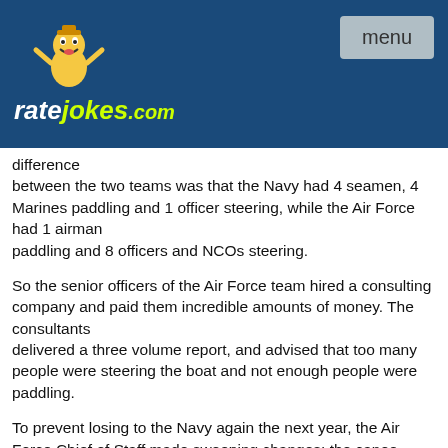[Figure (logo): ratejokes.com logo with cartoon mascot character on dark blue header background]
difference between the two teams was that the Navy had 4 seamen, 4 Marines paddling and 1 officer steering, while the Air Force had 1 airman paddling and 8 officers and NCOs steering.
So the senior officers of the Air Force team hired a consulting company and paid them incredible amounts of money. The consultants delivered a three volume report, and advised that too many people were steering the boat and not enough people were paddling.
To prevent losing to the Navy again the next year, the Air Force Chief of Staff made sweeping changes: the canoe team's organizational was realigned to 4 steering officers, 3 area steering superintendents and 1 assistant superintendent steering NCO.
They also implemented a new performance system that would give the 1 airman paddling the boat greater incentive to work harder. It was called the "Air Force Canoe Team Quality Program," with meetings, dinners, and a three-day pass for the paddler.